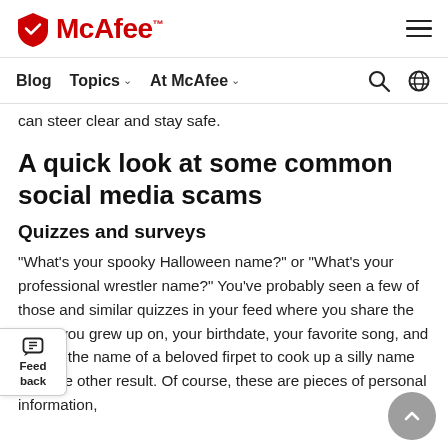McAfee — Blog | Topics | At McAfee
can steer clear and stay safe.
A quick look at some common social media scams
Quizzes and surveys
“What’s your spooky Halloween name?” or “What’s your professional wrestler name?” You’ve probably seen a few of those and similar quizzes in your feed where you share the street you grew up on, your birthdate, your favorite song, and maybe the name of a beloved first pet to cook up a silly name or some other result. Of course, these are pieces of personal information,